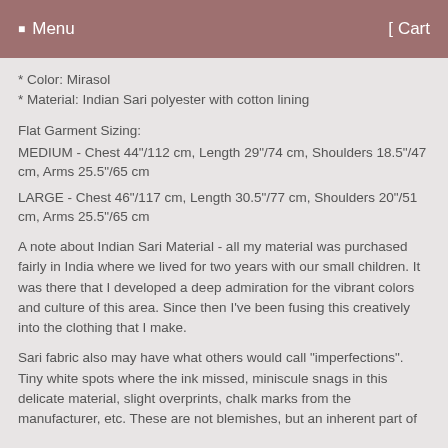☰  Menu    [  Cart
* Color: Mirasol
* Material: Indian Sari polyester with cotton lining
Flat Garment Sizing:
MEDIUM - Chest 44"/112 cm, Length 29"/74 cm, Shoulders 18.5"/47 cm, Arms 25.5"/65 cm
LARGE - Chest 46"/117 cm, Length 30.5"/77 cm, Shoulders 20"/51 cm, Arms 25.5"/65 cm
A note about Indian Sari Material - all my material was purchased fairly in India where we lived for two years with our small children. It was there that I developed a deep admiration for the vibrant colors and culture of this area. Since then I've been fusing this creatively into the clothing that I make.
Sari fabric also may have what others would call "imperfections". Tiny white spots where the ink missed, miniscule snags in this delicate material, slight overprints, chalk marks from the manufacturer, etc. These are not blemishes, but an inherent part of